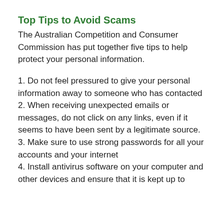Top Tips to Avoid Scams
The Australian Competition and Consumer Commission has put together five tips to help protect your personal information.
1. Do not feel pressured to give your personal information away to someone who has contacted
2. When receiving unexpected emails or messages, do not click on any links, even if it seems to have been sent by a legitimate source.
3. Make sure to use strong passwords for all your accounts and your internet
4. Install antivirus software on your computer and other devices and ensure that it is kept up to